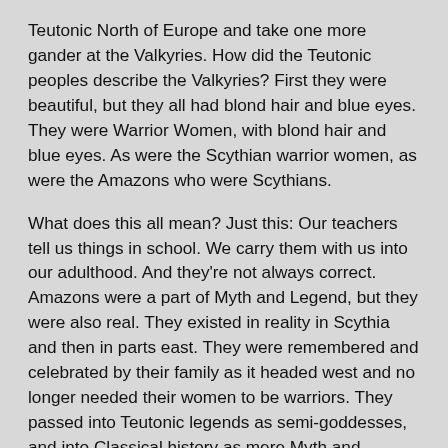Teutonic North of Europe and take one more gander at the Valkyries. How did the Teutonic peoples describe the Valkyries? First they were beautiful, but they all had blond hair and blue eyes. They were Warrior Women, with blond hair and blue eyes. As were the Scythian warrior women, as were the Amazons who were Scythians.
What does this all mean? Just this: Our teachers tell us things in school. We carry them with us into our adulthood. And they're not always correct. Amazons were a part of Myth and Legend, but they were also real. They existed in reality in Scythia and then in parts east. They were remembered and celebrated by their family as it headed west and no longer needed their women to be warriors. They passed into Teutonic legends as semi-goddesses, and into Classical history as mere Myth and Legend. And their descendants, real people, went east and planted themselves there to give us tantalizing views of themselves in nomadic people and their children. And on festive occasions the women put on their homemade finery which bears a striking resemblance to the costumes worn by a Warrior Woman on an urn painted in Ancient Greece 2,500 years ago.